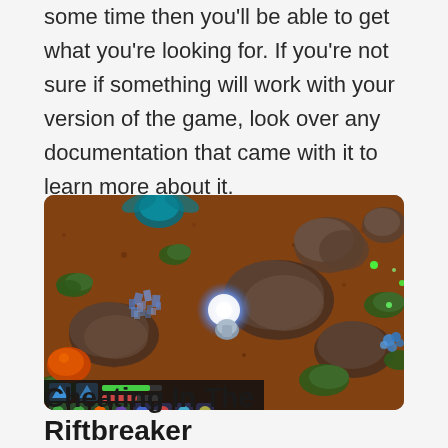some time then you'll be able to get what you're looking for. If you're not sure if something will work with your version of the game, look over any documentation that came with it to learn more about it.
[Figure (screenshot): Top-down isometric view screenshot of The Riftbreaker game showing a mech suit character firing a glowing blue weapon blast in a reddish-brown alien landscape with rock formations, alien creatures, blue crystal resources, and green vegetation. The game HUD is visible at the bottom left corner.]
Cheating In The Riftbreaker